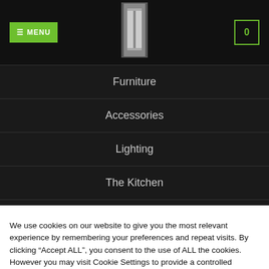MENU | Logo | Cart 0
Furniture
Accessories
Lighting
The Kitchen
Festive Decor
Foodie Treats
We use cookies on our website to give you the most relevant experience by remembering your preferences and repeat visits. By clicking “Accept ALL”, you consent to the use of ALL the cookies. However you may visit Cookie Settings to provide a controlled consent. Read More
Cookie Settings | Reject All | Accept All